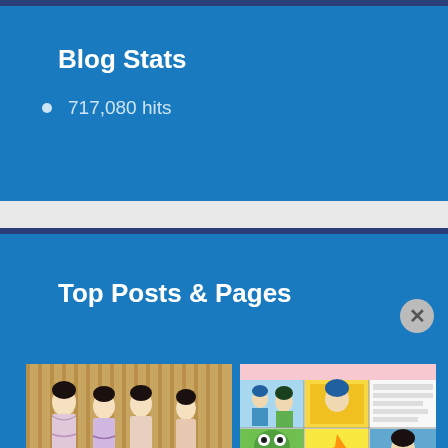Blog Stats
717,080 hits
Top Posts & Pages
[Figure (photo): Japanese ukiyo-e style illustration showing women in traditional kimono]
[Figure (screenshot): Manga/comic style grid of colorful illustrated panels with Japanese characters]
Advertisements